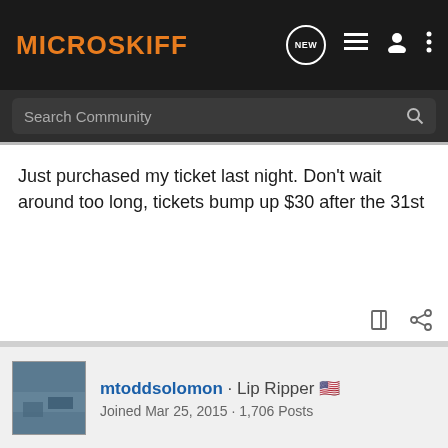MICROSKIFF
Just purchased my ticket last night. Don't wait around too long, tickets bump up $30 after the 31st
mtoddsolomon · Lip Ripper
Joined Mar 25, 2015 · 1,706 Posts
#11 · Aug 25, 2019
I fish it e...ould for
[Figure (screenshot): AdvancedFrame kayak advertisement banner showing a green inflatable kayak with The One & Only AdvancedFrame text and Advanced Elements logo]